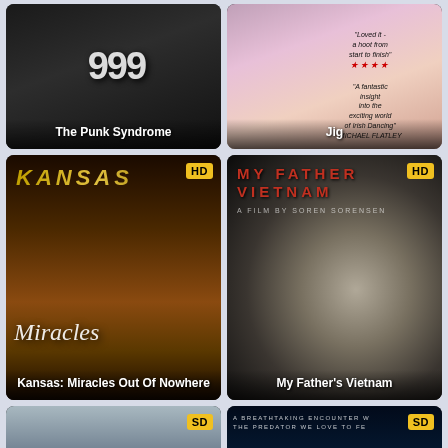[Figure (photo): Movie poster for The Punk Syndrome showing two men in dark clothing with number 999 visible]
The Punk Syndrome
[Figure (photo): Movie poster for Jig showing Irish dancers' legs with review quotes]
Jig
[Figure (photo): Movie poster for Kansas: Miracles Out Of Nowhere showing the band standing in a field with HD badge]
Kansas: Miracles Out Of Nowhere
[Figure (photo): Movie poster for My Father's Vietnam showing a close-up black and white face with HD badge and red title text]
My Father's Vietnam
[Figure (photo): Movie poster showing two men with aircraft, SD badge]
[Figure (photo): Movie poster with blue glowing ocean scene and text about predator, SD badge]